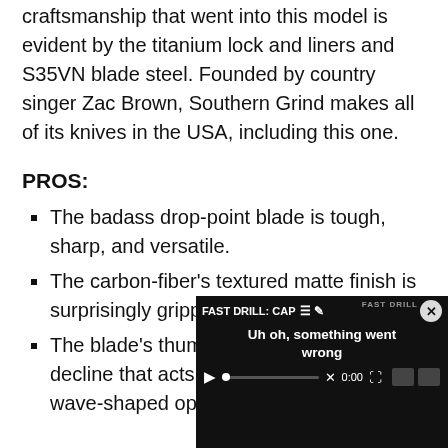craftsmanship that went into this model is evident by the titanium lock and liners and S35VN blade steel. Founded by country singer Zac Brown, Southern Grind makes all of its knives in the USA, including this one.
PROS:
The badass drop-point blade is tough, sharp, and versatile.
The carbon-fiber's textured matte finish is surprisingly grippy.
The blade's thumb ramp has a rapid decline that acts li… wave-shaped opener, ca…
[Figure (screenshot): Video player overlay showing 'FAST DRILL: CAP' title with 'Uh oh, something went wrong' error message and video controls at bottom right of page.]